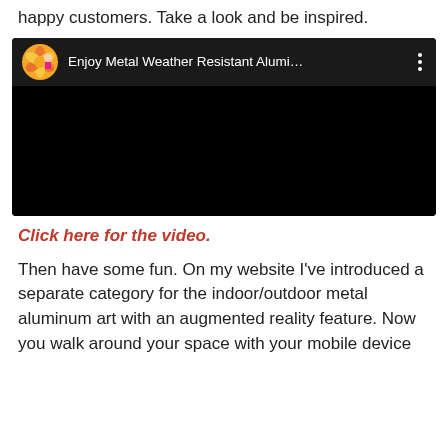happy customers. Take a look and be inspired.
[Figure (screenshot): Embedded video player screenshot showing a YouTube-style video with a flower thumbnail profile image and title 'Enjoy Metal Weather Resistant Alumi...' with a three-dot menu icon, and a black video area.]
Click here for the video.
Then have some fun. On my website I've introduced a separate category for the indoor/outdoor metal aluminum art with an augmented reality feature. Now you walk around your space with your mobile device